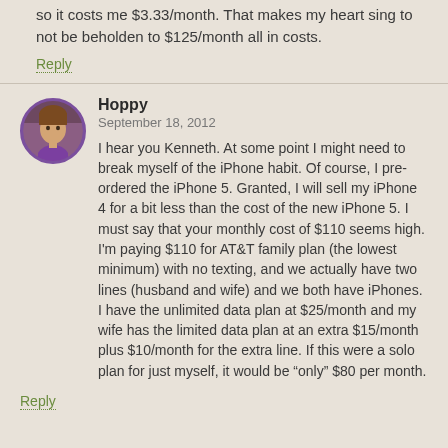so it costs me $3.33/month. That makes my heart sing to not be beholden to $125/month all in costs.
Reply
Hoppy
September 18, 2012
I hear you Kenneth. At some point I might need to break myself of the iPhone habit. Of course, I pre-ordered the iPhone 5. Granted, I will sell my iPhone 4 for a bit less than the cost of the new iPhone 5. I must say that your monthly cost of $110 seems high. I'm paying $110 for AT&T family plan (the lowest minimum) with no texting, and we actually have two lines (husband and wife) and we both have iPhones. I have the unlimited data plan at $25/month and my wife has the limited data plan at an extra $15/month plus $10/month for the extra line. If this were a solo plan for just myself, it would be "only" $80 per month.
Reply